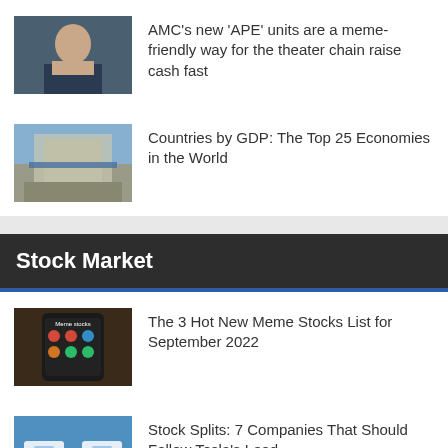[Figure (photo): Photo of a man in a dark suit]
AMC’s new ‘APE’ units are a meme-friendly way for the theater chain raise cash fast
[Figure (photo): Photo of the United Nations building with flags]
Countries by GDP: The Top 25 Economies in the World
Stock Market
[Figure (photo): Phone screen showing meme stocks app]
The 3 Hot New Meme Stocks List for September 2022
[Figure (photo): Illustration of stock splits with hands and cards]
Stock Splits: 7 Companies That Should Follow Tesla’s Lead